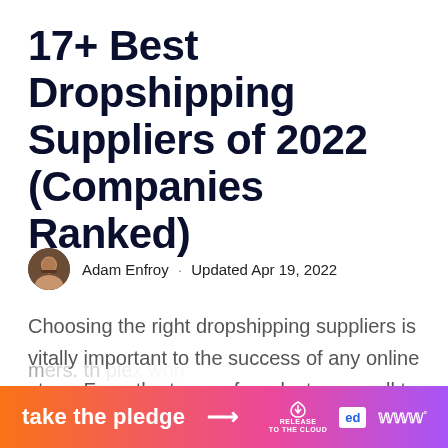17+ Best Dropshipping Suppliers of 2022 (Companies Ranked)
Adam Enfroy · Updated Apr 19, 2022
Choosing the right dropshipping suppliers is vitally important to the success of any online store. From the types of products you sell to the speed at which you can get your
[Figure (infographic): Orange-to-pink gradient banner advertisement reading 'take the pledge →' with logos for Release, Ed, and Wave on the right side.]